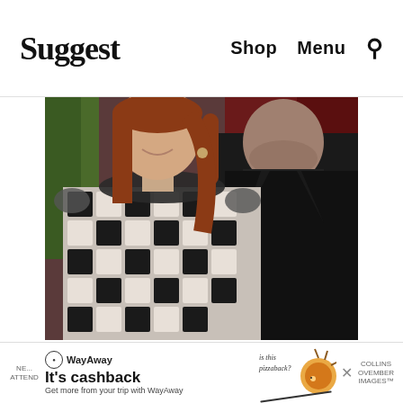Suggest   Shop   Menu   🔍
[Figure (photo): Two people posing together at an event. On the left, a woman with long auburn/red hair wearing a black and white patterned dress with a beaded neckline. On the right, a man in an all-black outfit (black shirt and black blazer). Background shows dark red curtain and green foliage.]
WayAway   It's cashback   Get more from your trip with WayAway   is this pizzaback?   COLLINS OVEMBER IMAGES